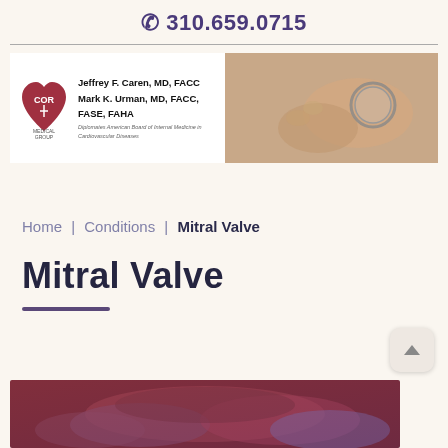☎ 310.659.0715
[Figure (photo): COR Medical Group banner with logo (red heart with COR letters and medical symbol), doctor names Jeffrey F. Caren MD FACC and Mark K. Urman MD FACC FASE FAHA, and a photo of hands using a stethoscope on the right]
Home | Conditions | Mitral Valve
Mitral Valve
[Figure (photo): Close-up medical illustration or photo of heart valve tissue in red/purple tones at the bottom of the page]